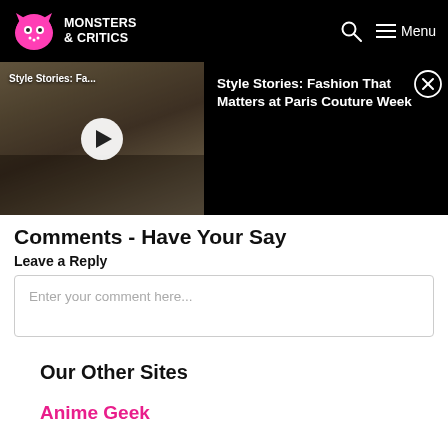Monsters & Critics — Menu
[Figure (screenshot): Video thumbnail showing Style Stories: Fashion That Matters at Paris Couture Week with play button overlay]
Comments - Have Your Say
Leave a Reply
Enter your comment here...
Our Other Sites
Anime Geek